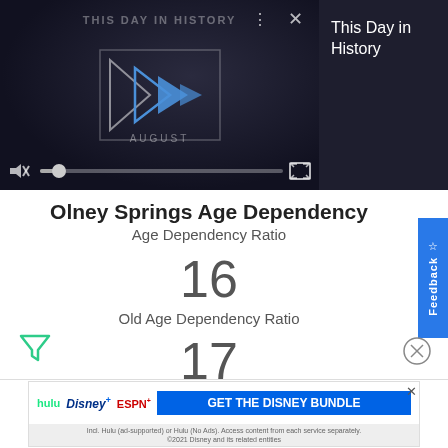[Figure (screenshot): Video player showing 'This Day in History' with play controls, mute button, progress bar, and fullscreen icon on dark background]
This Day in History
Olney Springs Age Dependency
Age Dependency Ratio
16
Old Age Dependency Ratio
17
Child Dependency Ratio
[Figure (screenshot): Advertisement banner: Hulu, Disney+, ESPN+ logos with 'GET THE DISNEY BUNDLE' call to action button. Small print: Incl. Hulu (ad-supported) or Hulu (No Ads). Access content from each service separately. ©2021 Disney and its related entities]